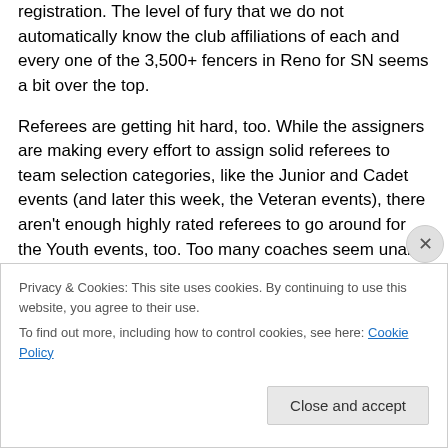registration. The level of fury that we do not automatically know the club affiliations of each and every one of the 3,500+ fencers in Reno for SN seems a bit over the top.
Referees are getting hit hard, too. While the assigners are making every effort to assign solid referees to team selection categories, like the Junior and Cadet events (and later this week, the Veteran events), there aren't enough highly rated referees to go around for the Youth events, too. Too many coaches seem unable to cope with the idea that new referees need experience in order to become excellent referees, and that youth and developmental
Privacy & Cookies: This site uses cookies. By continuing to use this website, you agree to their use.
To find out more, including how to control cookies, see here: Cookie Policy
Close and accept